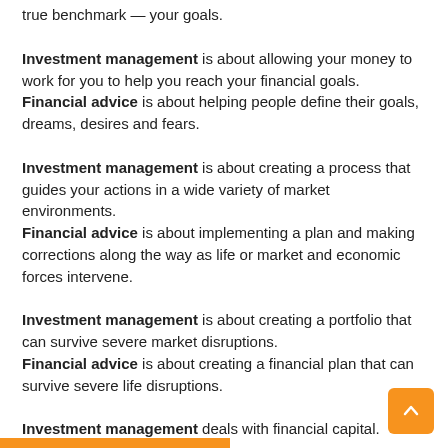true benchmark — your goals.
Investment management is about allowing your money to work for you to help you reach your financial goals. Financial advice is about helping people define their goals, dreams, desires and fears.
Investment management is about creating a process that guides your actions in a wide variety of market environments. Financial advice is about implementing a plan and making corrections along the way as life or market and economic forces intervene.
Investment management is about creating a portfolio that can survive severe market disruptions. Financial advice is about creating a financial plan that can survive severe life disruptions.
Investment management deals with financial capital.